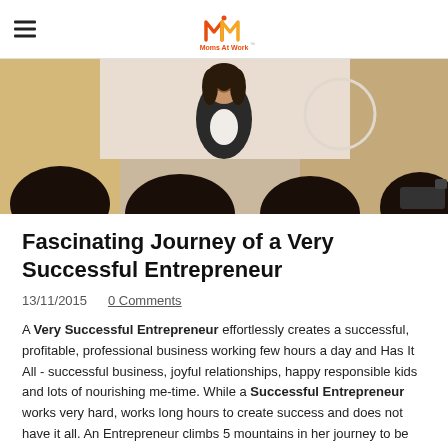Moms At Work
[Figure (photo): A woman in a black blazer standing and smiling, presenting to a group of people seated with their backs to the camera, in a room with wooden walls.]
Fascinating Journey of a Very Successful Entrepreneur
13/11/2015   0 Comments
A Very Successful Entrepreneur effortlessly creates a successful, profitable, professional business working few hours a day and Has It All - successful business, joyful relationships, happy responsible kids and lots of nourishing me-time. While a Successful Entrepreneur works very hard, works long hours to create success and does not have it all. An Entrepreneur climbs 5 mountains in her journey to be Very Successful. Each mountain is far away from the previous one and multiple times higher. The only way to move from one mountain to another is to climb up to the top and fly to the next